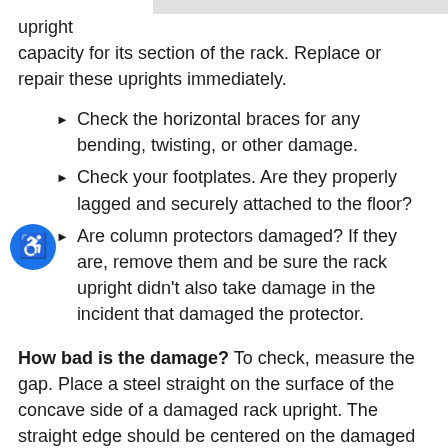upright
capacity for its section of the rack. Replace or repair these uprights immediately.
Check the horizontal braces for any bending, twisting, or other damage.
Check your footplates. Are they properly lagged and securely attached to the floor?
Are column protectors damaged? If they are, remove them and be sure the rack upright didn't also take damage in the incident that damaged the protector.
How bad is the damage? To check, measure the gap. Place a steel straight on the surface of the concave side of a damaged rack upright. The straight edge should be centered on the damaged section's length as accurately as possible. This